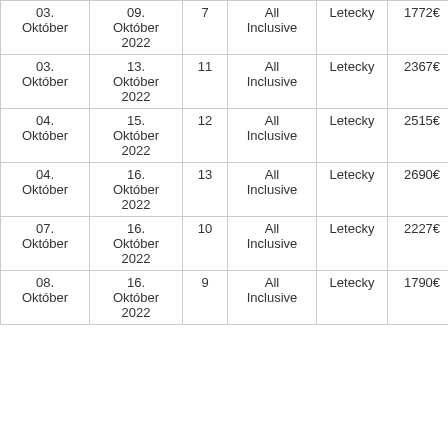| Od | Do | Dní | Strava | Doprava | Cena | Akcia |
| --- | --- | --- | --- | --- | --- | --- |
| 03. Október | 09. Október 2022 | 7 | All Inclusive | Letecky | 1772€ | Vybrat |
| 03. Október | 13. Október 2022 | 11 | All Inclusive | Letecky | 2367€ | Vybrat |
| 04. Október | 15. Október 2022 | 12 | All Inclusive | Letecky | 2515€ | Vybrat |
| 04. Október | 16. Október 2022 | 13 | All Inclusive | Letecky | 2690€ | Vybrat |
| 07. Október | 16. Október 2022 | 10 | All Inclusive | Letecky | 2227€ | Vybrat |
| 08. Október | 16. Október 2022 | 9 | All Inclusive | Letecky | 1790€ | Vybrat |